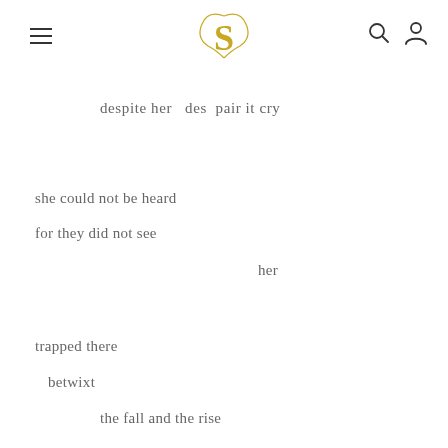≡  S  🔍  👤
despite her   des  pair it cry
she could not be heard
for they did not see
her
trapped there
betwixt
the fall and the rise